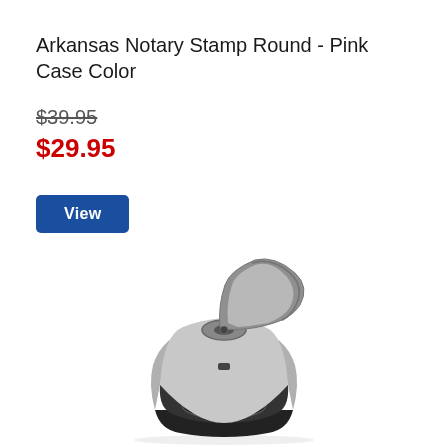Arkansas Notary Stamp Round - Pink Case Color
$39.95
$29.95
View
[Figure (photo): A metal and black notary embosser / seal stamp tool shown from the side, with a curved lever handle on top and a round die base at the bottom.]